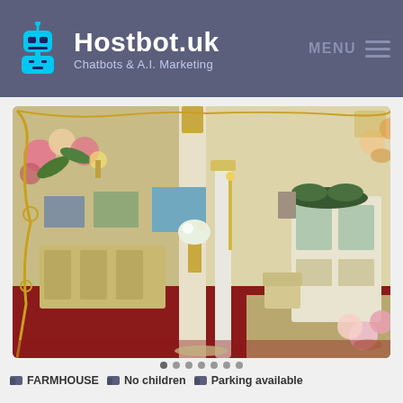Hostbot.uk Chatbots & A.I. Marketing  MENU
[Figure (photo): Interior of a decoratively styled room with ornate white and gold furniture, red carpet, chandeliers, floral decorations, framed paintings, and a display cabinet. The image is framed with illustrated floral borders and gold swirl decorations.]
FARMHOUSE
No children
Parking available